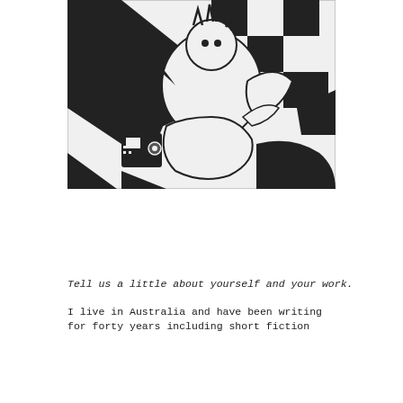[Figure (illustration): Black and white woodcut-style illustration depicting abstract human figures with geometric checkerboard patterns, one figure appears to be holding or near a small device, bold graphic style with high contrast black and white shapes]
Tell us a little about yourself and your work.
I live in Australia and have been writing for forty years including short fiction